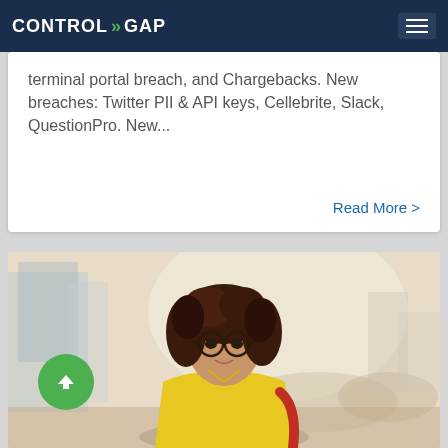CONTROL > GAP
terminal portal breach, and Chargebacks. New breaches: Twitter PII & API keys, Cellebrite, Slack, QuestionPro. New...
Read More >
[Figure (photo): Young woman with curly hair and glasses wearing a yellow blouse and red bag, standing outdoors in an urban setting with blurred city background]